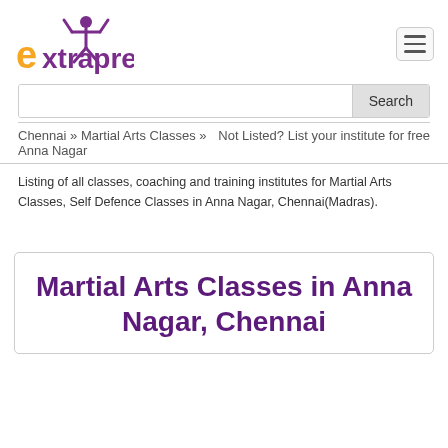[Figure (logo): Extraprepare logo with orange 'e' and purple 'xtraprepare' text and figure icon]
Search
Chennai » Martial Arts Classes » Anna Nagar
Not Listed? List your institute for free
Listing of all classes, coaching and training institutes for Martial Arts Classes, Self Defence Classes in Anna Nagar, Chennai(Madras).
Martial Arts Classes in Anna Nagar, Chennai